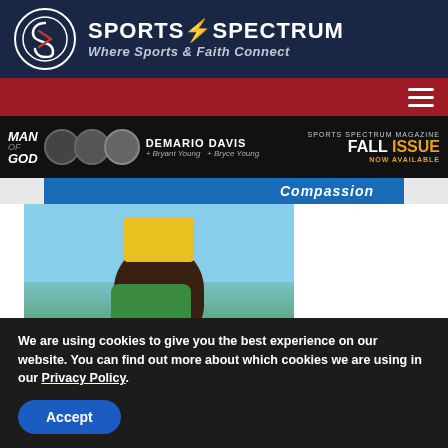[Figure (logo): Sports Spectrum logo with circular S icon and text 'SPORTS SPECTRUM - Where Sports & Faith Connect' on dark navy background]
[Figure (screenshot): Website navigation bar in dark red with hamburger menu icon on right]
[Figure (screenshot): Banner advertisement: 'Man of God' featuring DeMario Davis, Bryant Young, Bryce Young. Sports Spectrum Magazine Fall Issue Now Available.]
[Figure (photo): Young African child smiling and carrying a large yellow water container on his head, blue sky background. Compassion charity image.]
We are using cookies to give you the best experience on our website. You can find out more about which cookies we are using in our Privacy Policy.
Accept